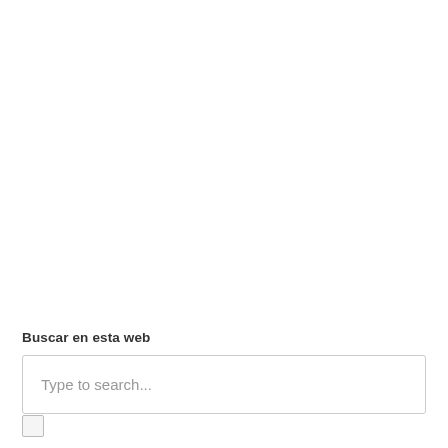Buscar en esta web
Type to search...
[Figure (other): Small checkbox UI element]